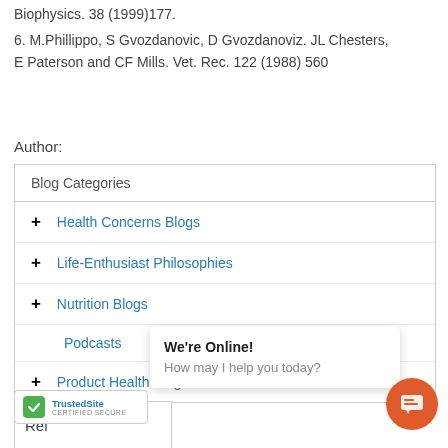Biophysics. 38 (1999)177.
6. M.Phillippo, S Gvozdanovic, D Gvozdanoviz. JL Chesters, E Paterson and CF Mills. Vet. Rec. 122 (1988) 560
Author:
| Blog Categories |
| --- |
| + Health Concerns Blogs |
| + Life-Enthusiast Philosophies |
| + Nutrition Blogs |
| Podcasts |
| + Product Health Blogs |
We're Online! How may I help you today?
[Figure (other): TrustedSite Certified Secure badge]
Rel...